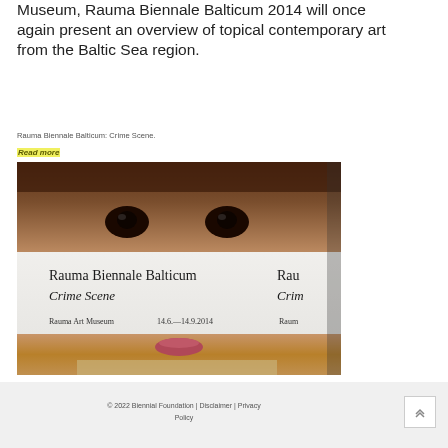Museum, Rauma Biennale Balticum 2014 will once again present an overview of topical contemporary art from the Baltic Sea region.
Rauma Biennale Balticum: Crime Scene.
Read more
[Figure (photo): Close-up photo of a person's face with dark skin partially obscured by a white banner reading 'Rauma Biennale Balticum Crime Scene, Rauma Art Museum 14.6.—14.9.2014']
© 2022 Biennial Foundation | Disclaimer | Privacy Policy